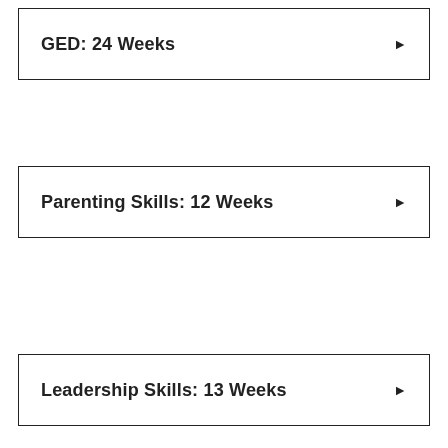GED: 24 Weeks
Parenting Skills: 12 Weeks
Leadership Skills: 13 Weeks